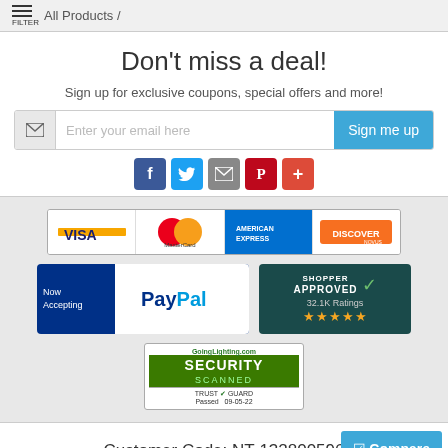FILTER / All Products /
Don't miss a deal!
Sign up for exclusive coupons, special offers and more!
[Figure (screenshot): Email signup form with envelope icon, placeholder 'Enter your email here', and 'Sign me up' blue button]
[Figure (infographic): Social media icons: Facebook, Twitter, Email/Share, Pinterest, Plus/More]
[Figure (infographic): Payment methods: VISA, MasterCard, American Express, Discover credit card logos strip]
[Figure (infographic): Now Accepting PayPal badge]
[Figure (infographic): Shopper Approved badge with 32.1K Ratings and 5 stars]
[Figure (infographic): GoingLighting.com Security Scanned Trust Guard Passed 09-05-22 badge]
Customer Code: NT-132800596
© 2022 - GoingLighting